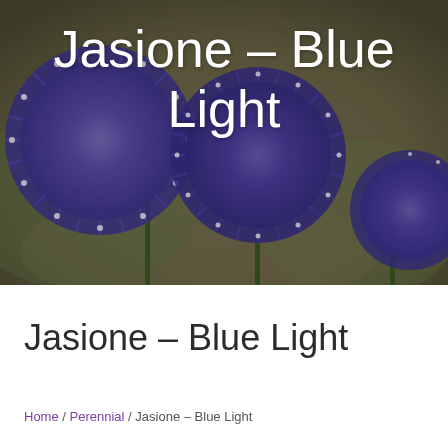[Figure (photo): Close-up photograph of Jasione Blue Light flowers with spiky blue-purple spherical blooms against a blurred green and brown background]
Jasione – Blue Light
Jasione – Blue Light
Home / Perennial / Jasione – Blue Light